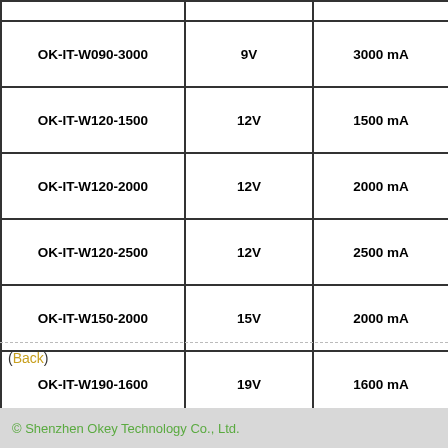|  |  |  |
| --- | --- | --- |
| OK-IT-W090-3000 | 9V | 3000 mA |
| OK-IT-W120-1500 | 12V | 1500 mA |
| OK-IT-W120-2000 | 12V | 2000 mA |
| OK-IT-W120-2500 | 12V | 2500 mA |
| OK-IT-W150-2000 | 15V | 2000 mA |
| OK-IT-W190-1600 | 19V | 1600 mA |
| OK-IT-W240-1300 | 24V | 1300 mA |
(Back)
© Shenzhen Okey Technology Co., Ltd.